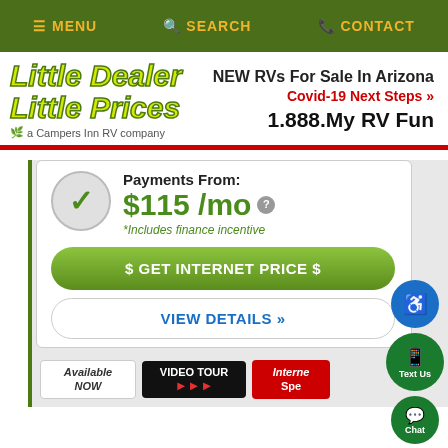≡ MENU  🔍 SEARCH  📞 CONTACT
Little Dealer Little Prices — a Campers Inn RV company
NEW RVs For Sale In Arizona
Covid-19 Next Steps »
1.888.My RV Fun
Payments From:
$115 /mo *
*Includes finance incentive
$ GET INTERNET PRICE $
VIEW DETAILS »
Available NOW | VIDEO TOUR | Internet Spe...
Text Us | Chat